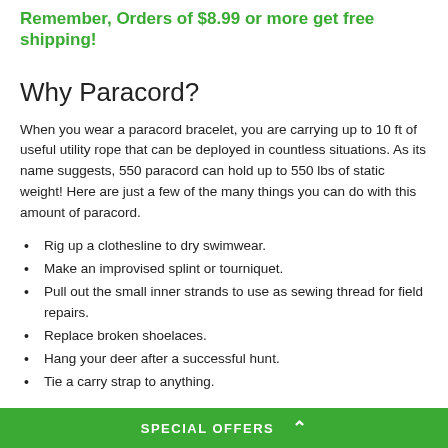Remember, Orders of $8.99 or more get free shipping!
Why Paracord?
When you wear a paracord bracelet, you are carrying up to 10 ft of useful utility rope that can be deployed in countless situations. As its name suggests, 550 paracord can hold up to 550 lbs of static weight! Here are just a few of the many things you can do with this amount of paracord.
Rig up a clothesline to dry swimwear.
Make an improvised splint or tourniquet.
Pull out the small inner strands to use as sewing thread for field repairs.
Replace broken shoelaces.
Hang your deer after a successful hunt.
Tie a carry strap to anything.
SPECIAL OFFERS